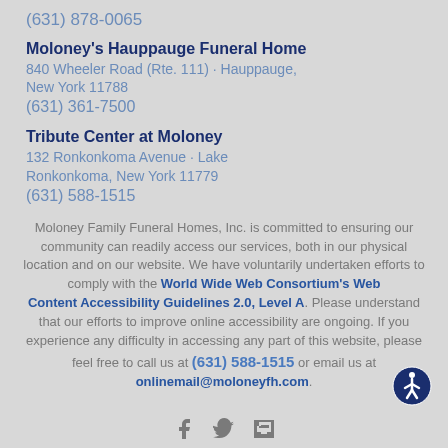(631) 878-0065
Moloney's Hauppauge Funeral Home
840 Wheeler Road (Rte. 111) · Hauppauge, New York 11788
(631) 361-7500
Tribute Center at Moloney
132 Ronkonkoma Avenue · Lake Ronkonkoma, New York 11779
(631) 588-1515
Moloney Family Funeral Homes, Inc. is committed to ensuring our community can readily access our services, both in our physical location and on our website. We have voluntarily undertaken efforts to comply with the World Wide Web Consortium's Web Content Accessibility Guidelines 2.0, Level A. Please understand that our efforts to improve online accessibility are ongoing. If you experience any difficulty in accessing any part of this website, please feel free to call us at (631) 588-1515 or email us at onlinemail@moloneyfh.com.